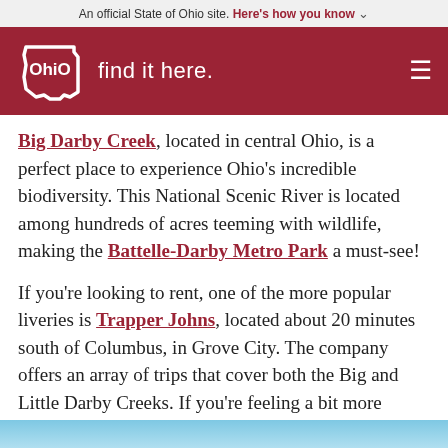An official State of Ohio site. Here's how you know ˅
[Figure (logo): Ohio 'find it here.' logo on dark red header background with hamburger menu icon]
Big Darby Creek, located in central Ohio, is a perfect place to experience Ohio's incredible biodiversity. This National Scenic River is located among hundreds of acres teeming with wildlife, making the Battelle-Darby Metro Park a must-see!
If you're looking to rent, one of the more popular liveries is Trapper Johns, located about 20 minutes south of Columbus, in Grove City. The company offers an array of trips that cover both the Big and Little Darby Creeks. If you're feeling a bit more adventurous, they even offer a moonlight paddle experience!
[Figure (photo): Blue water/sky image strip at bottom of page]